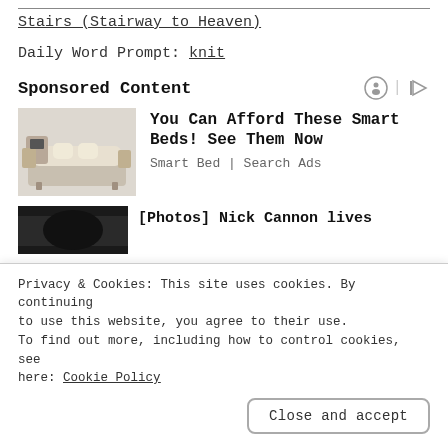Stairs (Stairway to Heaven)
Daily Word Prompt: knit
Sponsored Content
[Figure (photo): Smart bed with multiple features, beige/tan color, appears to have massage and entertainment attachments]
You Can Afford These Smart Beds! See Them Now
Smart Bed | Search Ads
[Figure (photo): Partial image of a person with dark clothing, cropped at bottom of page]
[Photos] Nick Cannon lives...
Privacy & Cookies: This site uses cookies. By continuing to use this website, you agree to their use.
To find out more, including how to control cookies, see here: Cookie Policy
Close and accept